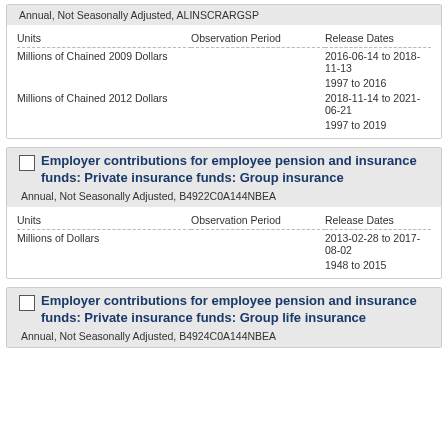| Units | Observation Period | Release Dates |
| --- | --- | --- |
| Millions of Chained 2009 Dollars |  | 2016-06-14 to 2018-11-13 |
|  |  | 1997 to 2016 |
| Millions of Chained 2012 Dollars |  | 2018-11-14 to 2021-06-21 |
|  |  | 1997 to 2019 |
Employer contributions for employee pension and insurance funds: Private insurance funds: Group insurance
Annual, Not Seasonally Adjusted, B4922C0A144NBEA
| Units | Observation Period | Release Dates |
| --- | --- | --- |
| Millions of Dollars |  | 2013-02-28 to 2017-08-02 |
|  |  | 1948 to 2015 |
Employer contributions for employee pension and insurance funds: Private insurance funds: Group life insurance
Annual, Not Seasonally Adjusted, B4924C0A144NBEA